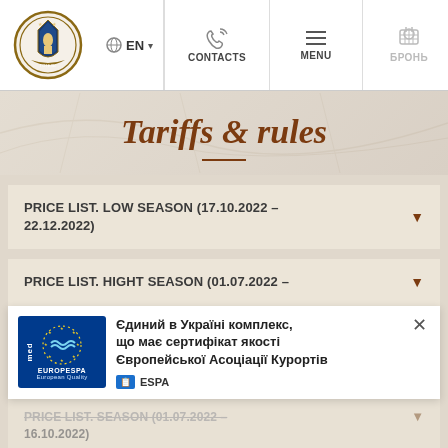Navigation bar with logo, EN language selector, CONTACTS, MENU, БРОНЬ
Tariffs & rules
PRICE LIST. LOW SEASON (17.10.2022 - 22.12.2022)
PRICE LIST. HIGHT SEASON (01.07.2022 -
[Figure (infographic): EUROPESPA med European Quality banner with text: Єдиний в Україні комплекс, що має сертифікат якості Європейської Асоціації Курортів, and ESPA badge]
PRICE LIST. SEASON (01.07.2022 - 16.10.2022)